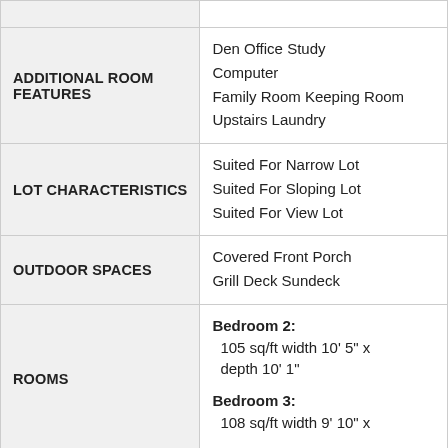| Category | Details |
| --- | --- |
| ADDITIONAL ROOM FEATURES | Den Office Study Computer
Family Room Keeping Room
Upstairs Laundry |
| LOT CHARACTERISTICS | Suited For Narrow Lot
Suited For Sloping Lot
Suited For View Lot |
| OUTDOOR SPACES | Covered Front Porch
Grill Deck Sundeck |
| ROOMS | Bedroom 2: 105 sq/ft width 10' 5" x depth 10' 1"
Bedroom 3: 108 sq/ft width 9' 10" x |